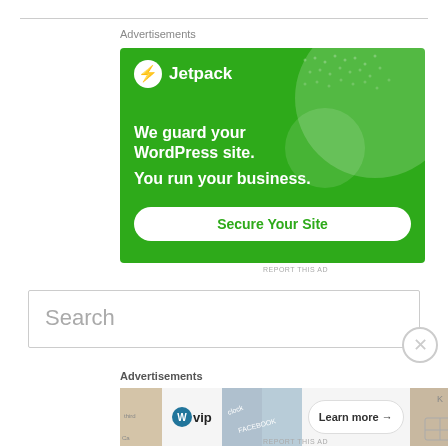Advertisements
[Figure (illustration): Jetpack advertisement banner on green background. Shows Jetpack logo with lightning bolt icon, text 'We guard your WordPress site. You run your business.' with a 'Secure Your Site' button.]
REPORT THIS AD
Search
Advertisements
[Figure (illustration): WordPress VIP advertisement banner showing WordPress logo with 'vip' text, social media imagery in background, and 'Learn more →' button.]